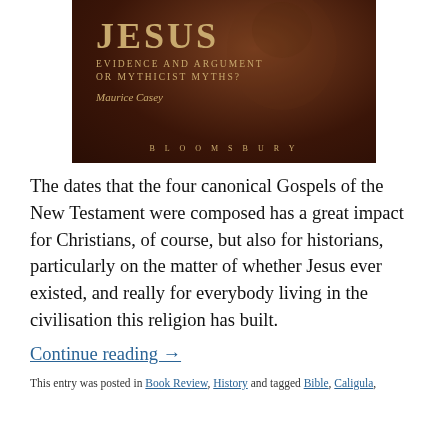[Figure (illustration): Book cover of 'Jesus: Evidence and Argument or Mythicist Myths?' by Maurice Casey, published by Bloomsbury. Dark brown/reddish background with a faint face image. Title 'JESUS' in large gold letters, subtitle 'EVIDENCE AND ARGUMENT OR MYTHICIST MYTHS?' in smaller caps, author name 'Maurice Casey' in italic, and 'BLOOMSBURY' at the bottom.]
The dates that the four canonical Gospels of the New Testament were composed has a great impact for Christians, of course, but also for historians, particularly on the matter of whether Jesus ever existed, and really for everybody living in the civilisation this religion has built.
Continue reading →
This entry was posted in Book Review, History and tagged Bible, Caligula,